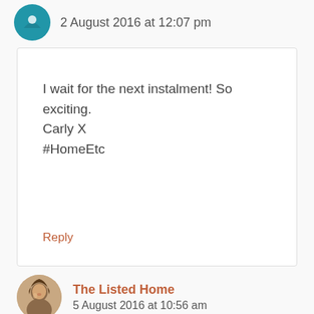2 August 2016 at 12:07 pm
I wait for the next instalment! So exciting.
Carly X
#HomeEtc
Reply
The Listed Home
5 August 2016 at 10:56 am